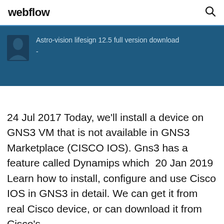webflow
[Figure (screenshot): Blue banner with avatar icon and text: Astro-vision lifesign 12.5 full version download with a dash below]
24 Jul 2017 Today, we'll install a device on GNS3 VM that is not available in GNS3 Marketplace (CISCO IOS). Gns3 has a feature called Dynamips which  20 Jan 2019 Learn how to install, configure and use Cisco IOS in GNS3 in detail. We can get it from real Cisco device, or can download it from Cisco's